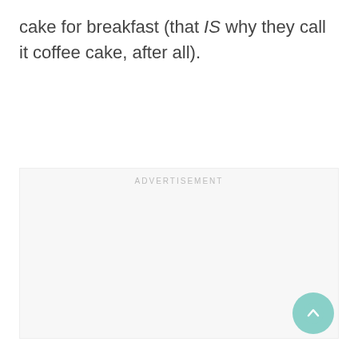cake for breakfast (that IS why they call it coffee cake, after all).
[Figure (other): Advertisement placeholder box with light gray background and 'ADVERTISEMENT' label at top center, with a teal circular scroll-to-top button in the bottom right corner.]